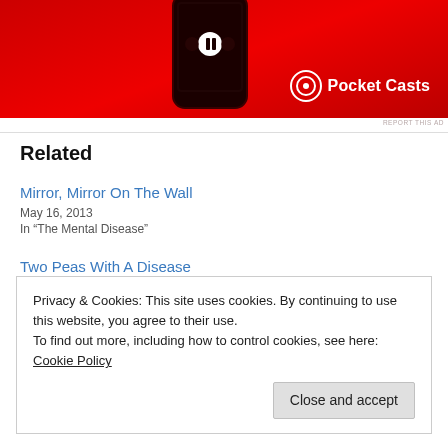[Figure (photo): Advertisement banner showing a smartphone with Pocket Casts app on a red background, with the Pocket Casts logo and wordmark in the lower right.]
REPORT THIS AD
Related
Mirror, Mirror On The Wall
May 16, 2013
In “The Mental Disease”
Two Peas With A Disease
Privacy & Cookies: This site uses cookies. By continuing to use this website, you agree to their use.
To find out more, including how to control cookies, see here: Cookie Policy
Close and accept